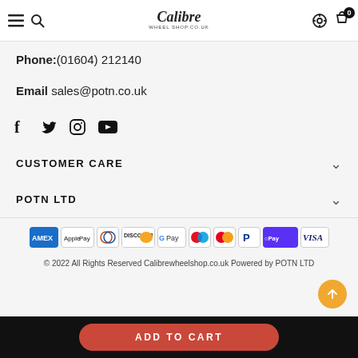Calibre Wheel Shop – navigation header with menu, search, logo, settings, cart (0)
Phone: (01604) 212140
Email sales@potn.co.uk
Social icons: Facebook, Twitter, Instagram, YouTube
CUSTOMER CARE
POTN LTD
[Figure (other): Payment method logos: American Express, Apple Pay, Diners Club, Discover, Google Pay, Maestro, Mastercard, PayPal, Shop Pay, Visa]
© 2022 All Rights Reserved Calibrewheelshop.co.uk Powered by POTN LTD
ADD TO CART